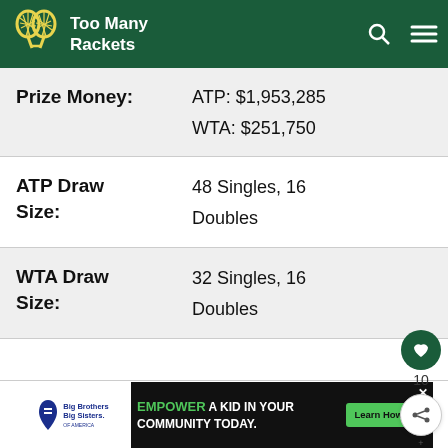Too Many Rackets
| Field | Value |
| --- | --- |
| Prize Money: | ATP: $1,953,285
WTA: $251,750 |
| ATP Draw Size: | 48 Singles, 16 Doubles |
| WTA Draw Size: | 32 Singles, 16 Doubles |
[Figure (screenshot): Ad banner: Big Brothers Big Sisters - EMPOWER A KID IN YOUR COMMUNITY TODAY. Learn How button.]